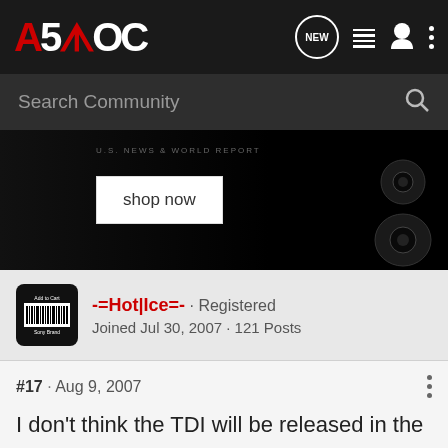A5OC · NEW · Search Community
[Figure (photo): Dark advertisement banner showing speaker/audio equipment with text 'U.S. NEWS & WORLD REPORT' and a 'shop now' button]
-=Hot|Ice=- · Registered
Joined Jul 30, 2007 · 121 Posts
#17 · Aug 9, 2007
I don't think the TDI will be released in the US